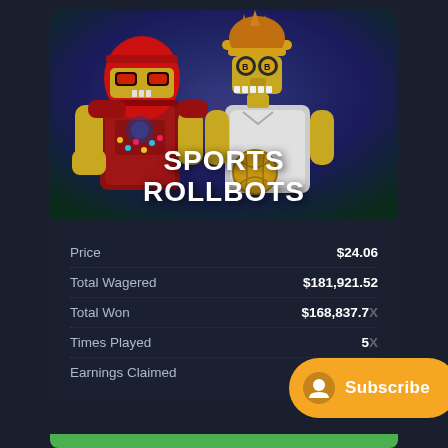[Figure (illustration): Two robot characters in sports attire — one in an American football helmet and jersey, another in a soccer outfit holding a golden globe ball — against a dark purple/blue gradient background. Text 'SPORTS ROLLBOTS' in bold white letters at the bottom of the image.]
|  |  |
| --- | --- |
| Price | $24.06 |
| Total Wagered | $181,921.52 |
| Total Won | $168,837.7X |
| Times Played | 5X |
| Earnings Claimed | $X |
[Figure (other): Orange pill-shaped Subscribe button with a circular user icon on the left and 'Subscribe' text in white.]